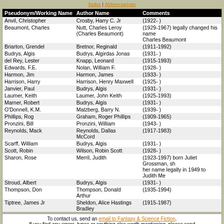Index | Abbreviations
| Pseudonym/Working Name | Author Name | Comments |
| --- | --- | --- |
| Anvil, Christopher | Crosby, Harry C. Jr | (1922- ) |
| Beaumont, Charles | Nutt, Charles Leroy (Charles Beaumont) | (1929-1967) legally changed his name Charles Beaumont |
| Briarton, Grendel | Bretnor, Reginald | (1911-1992) |
| Budrys, Algis | Budrys, Algirdas Jonas | (1931- ) |
| del Rey, Lester | Knapp, Leonard | (1915-1993) |
| Edwards, F.E. | Nolan, William F. | (1928- ) |
| Harmon, Jim | Harmon, James | (1933- ) |
| Harrison, Harry | Harrison, Henry Maxwell | (1925- ) |
| Janvier, Paul | Budrys, Algis | (1931- ) |
| Laumer, Keith | Laumer, John Keith | (1925-1993) |
| Marner, Robert | Budrys, Algis | (1931- ) |
| O'Donnell, K.M. | Malzberg, Barry N. | (1939- ) |
| Phillips, Rog | Graham, Roger Phillips | (1909-1965) |
| Pronzini, Bill | Pronzini, William | (1943- ) |
| Reynolds, Mack | Reynolds, Dallas McCord | (1917-1983) |
| Scarff, William | Budrys, Algis | (1931- ) |
| Scott, Robin | Wilson, Robin Scott | (1928- ) |
| Sharon, Rose | Merril, Judith | (1923-1997) born Juliet Grossman, sh her name legally in 1949 to Judith Me |
| Stroud, Albert | Budrys, Algis | (1931- ) |
| Thompson, Don | Thompson, Donald Arthur | (1935-1994) |
| Tiptree, James Jr | Sheldon, Alice Hastings Bradley | (1915-1987) |
To contact us, send an email to Fantasy & Science Fiction. If you find any errors, typos or anything else worth mentioning, please send sitemaster@fandsf.com. Copyright © 1998–2020 Fantasy & Science Fiction All Rights Reserved Worldwide
[Figure (logo): SF Site logo — red background with white bold text 'SF Site']